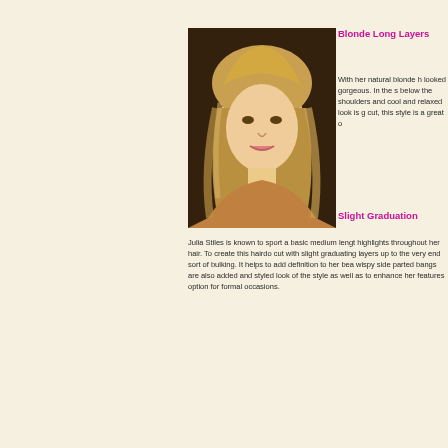[Figure (photo): Photo of Julia Stiles with blonde long layered hair, medium length, looking at camera]
Blonde Long Layers
With her natural blonde hair she looked gorgeous. In the style, hair below the shoulders and a cool and relaxed look is given cut, this style is a great o
Slight Graduation
Julia Stiles is known to sport a basic medium length hair with highlights throughout her hair. To create this hairdo, ask your stylist to cut with slight graduating layers up to the very end to remove any sort of bulking. It helps to add definition to her beauty. Some wispy side parted bangs are also added and styled to enhance the look of the style as well as to enhance her features. It is a great option for formal occasions.